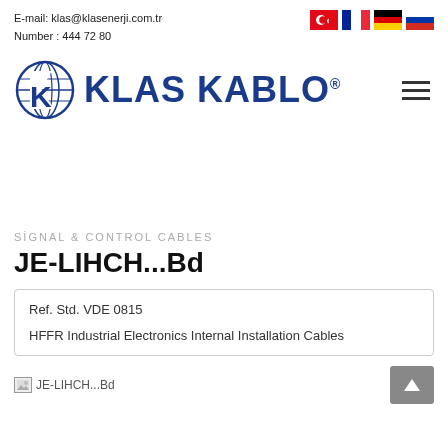E-mail: klas@klasenerji.com.tr
Number : 444 72 80
[Figure (logo): Klas Kablo company logo with globe icon and text KLAS KABLO]
SİGNAL & CONTROL CABLES
JE-LIHCH...Bd
Ref. Std. VDE 0815
HFFR Industrial Electronics Internal Installation Cables
JE-LIHCH...Bd